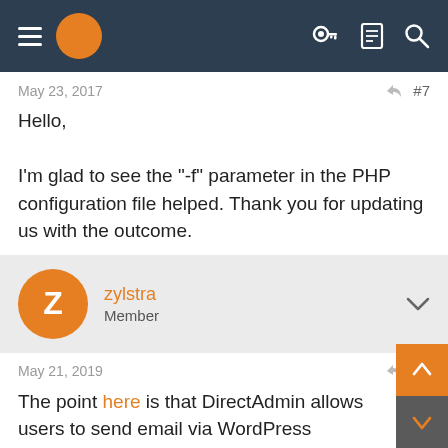Navigation bar with hamburger menu and icons
May 23, 2017    < #7
Hello,

I'm glad to see the "-f" parameter in the PHP configuration file helped. Thank you for updating us with the outcome.
zylstra
Member
May 21, 2019    < #8
The point here is that DirectAdmin allows users to send email via WordPress without, as in cPanel's case, spending hours figuring out why their emails are not delivered.

Why does cPanel not set -f user@domain.tld by default?